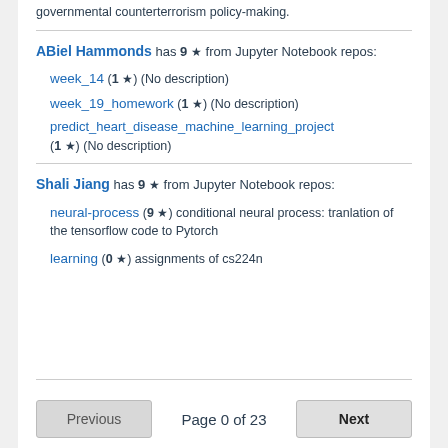governmental counterterrorism policy-making.
ABiel Hammonds has 9 ★ from Jupyter Notebook repos:
week_14 (1 ★) (No description)
week_19_homework (1 ★) (No description)
predict_heart_disease_machine_learning_project (1 ★) (No description)
Shali Jiang has 9 ★ from Jupyter Notebook repos:
neural-process (9 ★) conditional neural process: tranlation of the tensorflow code to Pytorch
learning (0 ★) assignments of cs224n
Previous  Page 0 of 23  Next